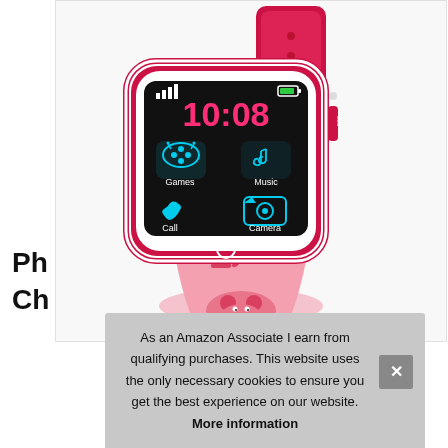[Figure (photo): Pink and red children's smartwatch displayed at an angle, showing a touchscreen with time 10:08 in pink digits and app icons for Games, Music, Call, and Camera. The watch has a pink strap with a cartoon dog character and a red strap on the other side.]
Ph
Ch
As an Amazon Associate I earn from qualifying purchases. This website uses the only necessary cookies to ensure you get the best experience on our website. More information